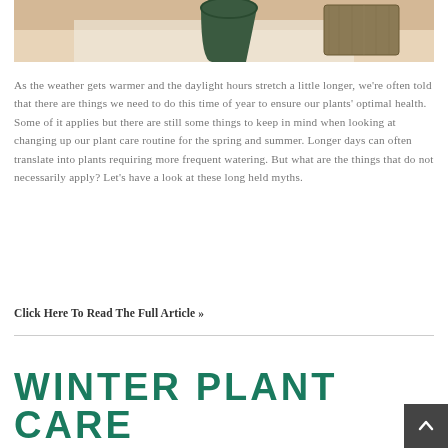[Figure (photo): Partial photo of a plant pot on a surface with wooden board visible, cropped at top]
As the weather gets warmer and the daylight hours stretch a little longer, we're often told that there are things we need to do this time of year to ensure our plants' optimal health. Some of it applies but there are still some things to keep in mind when looking at changing up our plant care routine for the spring and summer. Longer days can often translate into plants requiring more frequent watering. But what are the things that do not necessarily apply? Let's have a look at these long held myths.
Click Here To Read The Full Article »
WINTER PLANT CARE